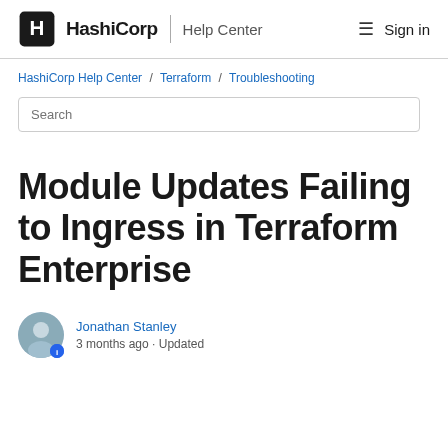HashiCorp | Help Center   Sign in
HashiCorp Help Center / Terraform / Troubleshooting
Module Updates Failing to Ingress in Terraform Enterprise
Jonathan Stanley
3 months ago · Updated